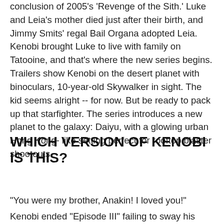conclusion of 2005's 'Revenge of the Sith.' Luke and Leia's mother died just after their birth, and Jimmy Smits' regal Bail Organa adopted Leia. Kenobi brought Luke to live with family on Tatooine, and that's where the new series begins. Trailers show Kenobi on the desert planet with binoculars, 10-year-old Skywalker in sight. The kid seems alright -- for now. But be ready to pack up that starfighter. The series introduces a new planet to the galaxy: Daiyu, with a glowing urban Hong Kong-like setting perfect for rooftop blaster shootouts.
WHICH VERSION OF KENOBI IS THIS?
"You were my brother, Anakin! I loved you!"
Kenobi ended "Episode III" failing to sway his...